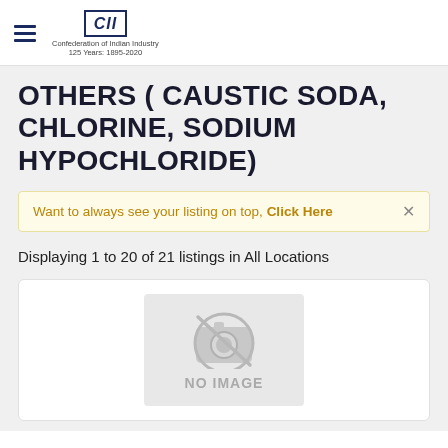CII — Confederation of Indian Industry | 125 Years: 1895-2020
OTHERS ( CAUSTIC SODA, CHLORINE, SODIUM HYPOCHLORIDE)
Want to always see your listing on top, Click Here
Displaying 1 to 20 of 21 listings in All Locations
[Figure (other): No image placeholder with camera icon crossed out and text 'NO IMAGE']